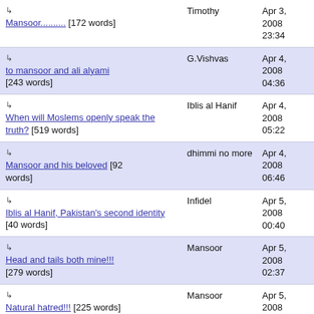↳ Mansoor.......... [172 words] | Timothy | Apr 3, 2008 23:34
↳ to mansoor and ali alyami [243 words] | G.Vishvas | Apr 4, 2008 04:36
↳ When will Moslems openly speak the truth? [519 words] | Iblis al Hanif | Apr 4, 2008 05:22
↳ Mansoor and his beloved [92 words] | dhimmi no more | Apr 4, 2008 06:46
↳ Iblis al Hanif, Pakistan's second identity [40 words] | Infidel | Apr 5, 2008 00:40
↳ Head and tails both mine!!! [279 words] | Mansoor | Apr 5, 2008 02:37
↳ Natural hatred!!! [225 words] | Mansoor | Apr 5, 2008 03:10
↳ Can you embrace the Hindus again??? [65 words] | Mansoor | Apr 5, 2008 03:45
↳ [partial] | Mansoor | Apr 5,